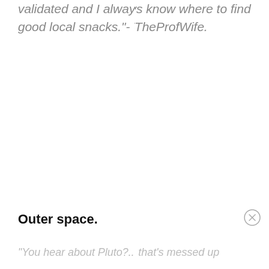validated and I always know where to find good local snacks."- TheProfWife.
Outer space.
"You hear about Pluto?.. that's messed up